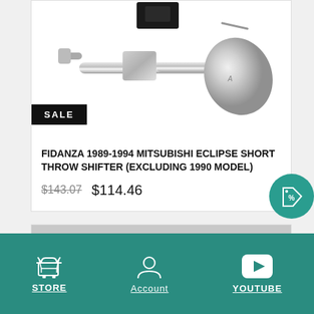[Figure (photo): Chrome short throw shifter parts laid out on white background showing the shifter rod, knob, and components]
SALE
FIDANZA 1989-1994 MITSUBISHI ECLIPSE SHORT THROW SHIFTER (EXCLUDING 1990 MODEL)
$143.07  $114.46
[Figure (photo): Partial product image on grey background]
STORE  Account  YOUTUBE